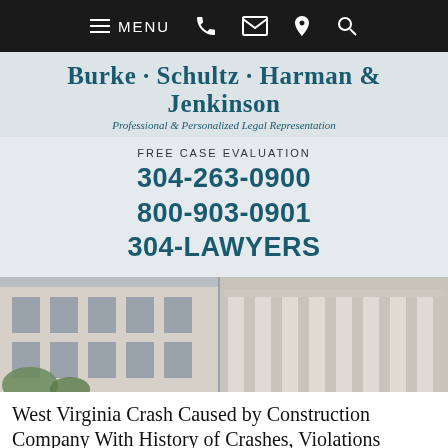MENU navigation bar with menu, phone, email, location, and search icons
Burke · Schultz · Harman & Jenkinson
Professional & Personalized Legal Representation
FREE CASE EVALUATION
304-263-0900
800-903-0901
304-LAWYERS
[Figure (photo): Exterior of a courthouse building with white classical columns and multi-paned windows, photographed at an angle]
West Virginia Crash Caused by Construction Company With History of Crashes, Violations
[Figure (photo): Small thumbnail image related to the article]
A water tanker truck recently caused a multiple-vehicle crash